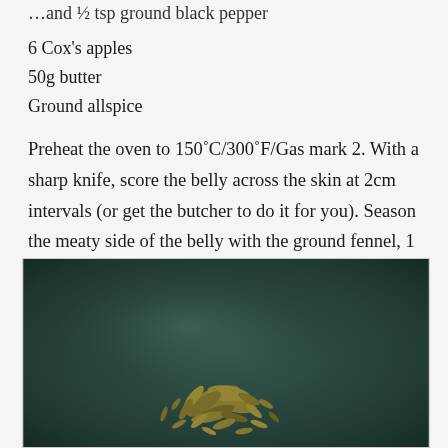6 Cox's apples
50g butter
Ground allspice
Preheat the oven to 150˚C/300˚F/Gas mark 2. With a sharp knife, score the belly across the skin at 2cm intervals (or get the butcher to do it for you). Season the meaty side of the belly with the ground fennel, 1 tsp salt and some black pepper.
[Figure (photo): Close-up photograph of fennel seeds scattered on a dark teal/grey stone surface]